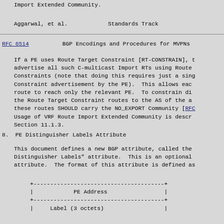Import Extended Community.
Aggarwal, et al.                    Standards Track
RFC 6514          BGP Encodings and Procedures for MVPNs
If a PE uses Route Target Constraint [RT-CONSTRAIN], t advertise all such C-multicast Import RTs using Route Constraints (note that doing this requires just a sing Constraint advertisement by the PE).  This allows eac route to reach only the relevant PE.  To constrain di the Route Target Constraint routes to the AS of the a these routes SHOULD carry the NO_EXPORT Community [RFC
Usage of VRF Route Import Extended Community is descr Section 11.1.3.
8.  PE Distinguisher Labels Attribute
This document defines a new BGP attribute, called the Distinguisher Labels" attribute.  This is an optional attribute.  The format of this attribute is defined as
+---------------------------------------+
|            PE Address                 |
+---------------------------------------+
|     Label (3 octets)                  |